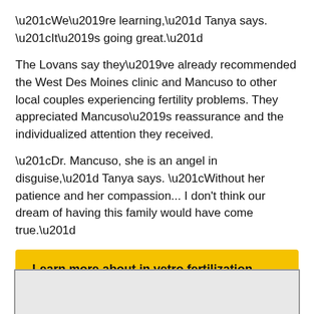“We’re learning,” Tanya says. “It’s going great.”
The Lovans say they’ve already recommended the West Des Moines clinic and Mancuso to other local couples experiencing fertility problems. They appreciated Mancuso’s reassurance and the individualized attention they received.
“Dr. Mancuso, she is an angel in disguise,” Tanya says. “Without her patience and her compassion... I don’t think our dream of having this family would have come true.”
Learn more about in vetro fertilization (IVF)
[Figure (other): Gray placeholder image box at bottom of page]